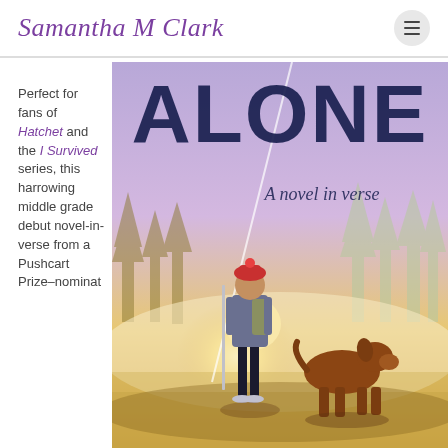Samantha M Clark
Perfect for fans of Hatchet and the I Survived series, this harrowing middle grade debut novel-in-verse from a Pushcart Prize-nominat
[Figure (illustration): Book cover of ALONE: A novel in verse. Shows a girl in a red hat holding a ski pole standing next to a brown dog, silhouetted against a glowing sunset in a snowy winter forest scene.]